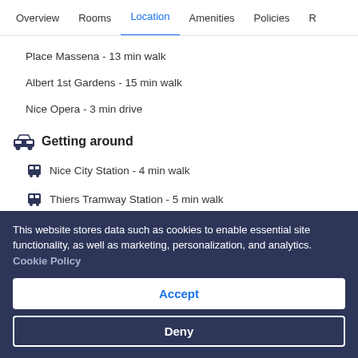Overview  Rooms  Location  Amenities  Policies  R
Place Massena - 13 min walk
Albert 1st Gardens - 15 min walk
Nice Opera - 3 min drive
Getting around
Nice City Station - 4 min walk
Thiers Tramway Station - 5 min walk
Nice (NCE-Cote d'Azur) - 15 min drive
This website stores data such as cookies to enable essential site functionality, as well as marketing, personalization, and analytics. Cookie Policy
Accept
Deny